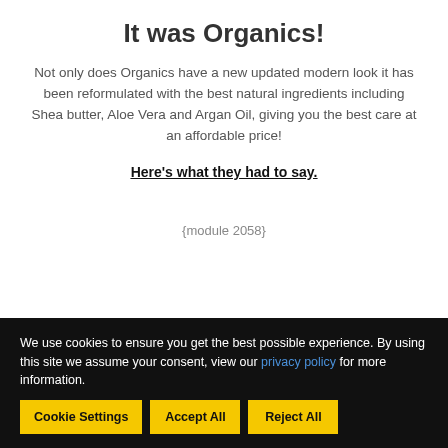It was Organics!
Not only does Organics have a new updated modern look it has been reformulated with the best natural ingredients including Shea butter, Aloe Vera and Argan Oil, giving you the best care at an affordable price!
Here's what they had to say.
{module 2058}
We use cookies to ensure you get the best possible experience. By using this site we assume your consent, view our privacy policy for more information.